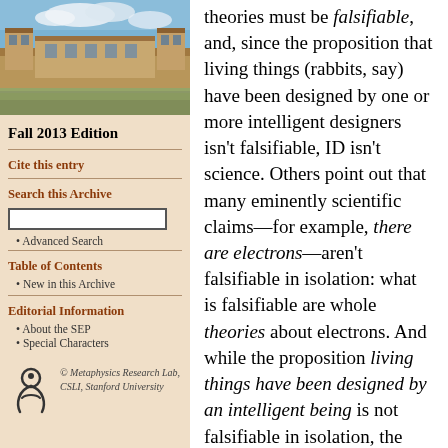[Figure (photo): Photograph of a university building (stone architecture with courtyard and blue sky)]
Fall 2013 Edition
Cite this entry
Search this Archive
Advanced Search
Table of Contents
New in this Archive
Editorial Information
About the SEP
Special Characters
© Metaphysics Research Lab, CSLI, Stanford University
theories must be falsifiable, and, since the proposition that living things (rabbits, say) have been designed by one or more intelligent designers isn't falsifiable, ID isn't science. Others point out that many eminently scientific claims—for example, there are electrons—aren't falsifiable in isolation: what is falsifiable are whole theories about electrons. And while the proposition living things have been designed by an intelligent being is not falsifiable in isolation, the proposition an intelligent being has designed and created 800 lb. rabbits that live in Cleveland is clearly falsifiable (and false).